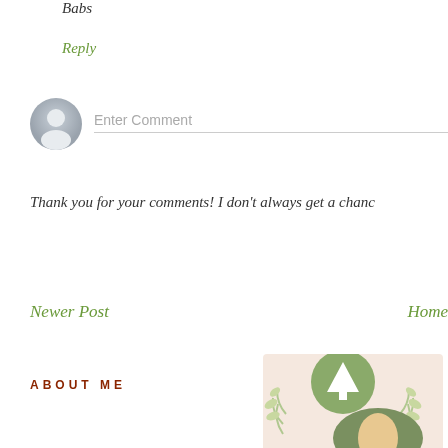Babs
Reply
[Figure (other): User avatar placeholder icon (gray silhouette) and comment input field with placeholder text 'Enter Comment']
Thank you for your comments! I don’t always get a chanc…
Newer Post
Home
ABOUT ME
[Figure (other): Profile image partially visible at bottom right, with a green circular badge overlaid containing a tree/mountain icon, and a decorative laurel wreath on a light pink background.]